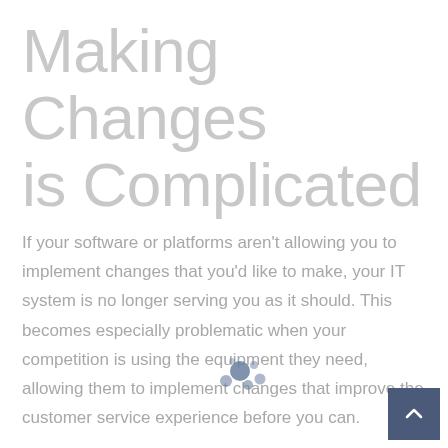Making Changes is Complicated
If your software or platforms aren't allowing you to implement changes that you'd like to make, your IT system is no longer serving you as it should. This becomes especially problematic when your competition is using the equipment they need, allowing them to implement changes that improve the customer service experience before you can.
Though no single software package will be able to meet all your unique business needs, it's time to look for other solutions when your current package is providing more barriers than opportunities for your goals.